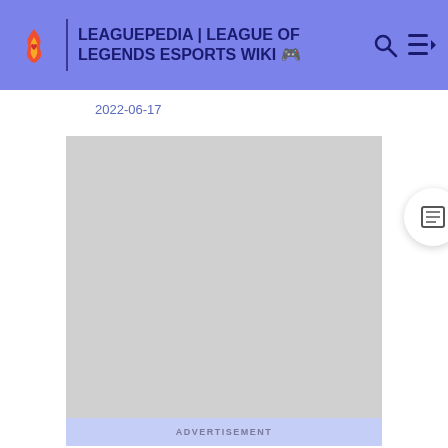LEAGUEPEDIA | LEAGUE OF LEGENDS ESPORTS WIKI
2022-06-17
[Figure (other): Gray advertisement placeholder block with light blue footer bar labeled ADVERTISEMENT]
ADVERTISEMENT